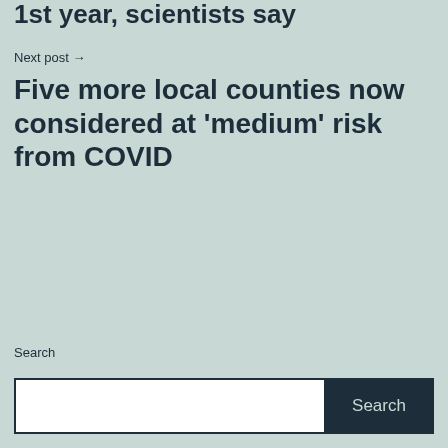1st year, scientists say
Next post →
Five more local counties now considered at ‘medium’ risk from COVID
Search
Search